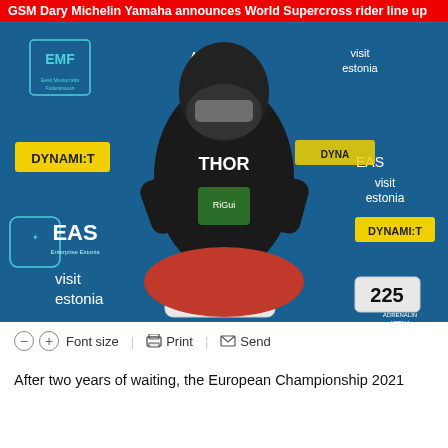GSM Dary Michelin Yamaha announces World Supercross rider line up
[Figure (photo): A motocross rider wearing a black Thor jersey and helmet, sitting on a red motorcycle numbered 225, posed in front of a backdrop featuring sponsors including EMF, Adrenalin Arena, Visit Estonia, Dynami:t, EAS Enterprise Estonia, and other logos.]
– Font size | Print | Send
After two years of waiting, the European Championship 2021